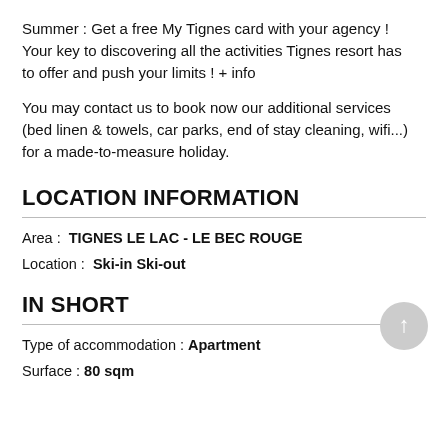Summer : Get a free My Tignes card with your agency ! Your key to discovering all the activities Tignes resort has to offer and push your limits ! + info
You may contact us to book now our additional services (bed linen & towels, car parks, end of stay cleaning, wifi...) for a made-to-measure holiday.
LOCATION INFORMATION
Area : TIGNES LE LAC - LE BEC ROUGE
Location : Ski-in Ski-out
IN SHORT
Type of accommodation : Apartment
Surface : 80 sqm